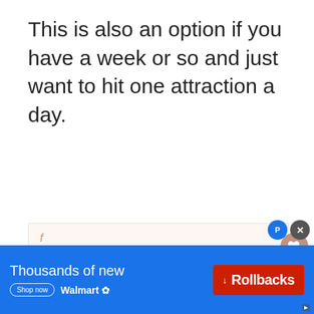This is also an option if you have a week or so and just want to hit one attraction a day.
[Figure (screenshot): Social sharing sidebar with Facebook, Twitter, Pinterest, and LinkedIn icons on a light pinkish-beige background]
[Figure (screenshot): Heart/like button showing 707 likes, share button, and 'What's Next' card showing 'An Essential Jorhat to...']
[Figure (screenshot): Walmart advertisement banner: 'Thousands of new' with 'Rollbacks' button in red and 'Shop now / Walmart' branding on blue background]